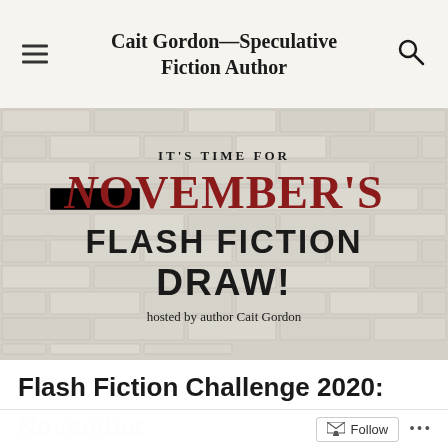Cait Gordon—Speculative Fiction Author
[Figure (illustration): Banner image on white brick wall background with text: IT'S TIME FOR NOVEMBER'S FLASH FICTION DRAW! hosted by author Cait Gordon. 'NOVEMBER'S' is in red/dark red, 'FLASH FICTION DRAW!' is in black bold lettering.]
Flash Fiction Challenge 2020: